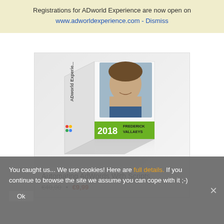Registrations for ADworld Experience are now open on www.adworldexperience.com - Dismiss
[Figure (photo): Product box for ADworld Experience 2018 featuring Frederick Vallaeys, with a man's face on the front of the box]
Automating AdWords With Scripts
€40,00 • €9,99
You caught us... We use cookies! Here are full details. If you continue to browse the site we assume you can cope with it ;-)
Ok